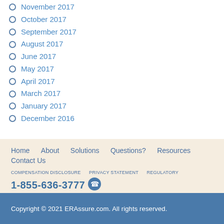November 2017
October 2017
September 2017
August 2017
June 2017
May 2017
April 2017
March 2017
January 2017
December 2016
Home   About   Solutions   Questions?   Resources   Contact Us
COMPENSATION DISCLOSURE   PRIVACY STATEMENT   REGULATORY
1-855-636-3777
info@ERAssure.com
Copyright © 2021 ERAssure.com. All rights reserved.